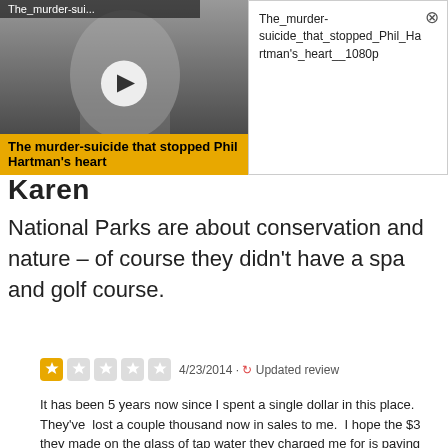[Figure (screenshot): Video thumbnail showing black and white photo of a man with play button overlay and yellow caption bar reading 'The murder-suicide that stopped Phil Hartman's heart']
[Figure (screenshot): Video info popup panel showing filename 'The_murder-suicide_that_stopped_Phil_Hartman's_heart__1080p' with close button]
Karen
National Parks are about conservation and nature – of course they didn't have a spa and golf course.
[Figure (other): 1-star rating (out of 5) with date 4/23/2014 and 'Updated review' label]
It has been 5 years now since I spent a single dollar in this place. They've  lost a couple thousand now in sales to me.  I hope the $3 they made on the glass of tap water they charged me for is paying their bills, and know Jim...